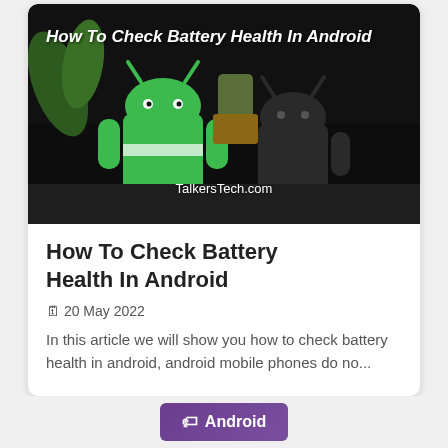[Figure (photo): Dark background image showing Android robot figurines (green and black) with a plant, with white italic bold text overlay reading 'How To Check Battery Health In Android' and watermark 'TalkersTech.com']
How To Check Battery Health In Android
🗓 20 May 2022
In this article we will show you how to check battery health in android, android mobile phones do no...
🏷 Android